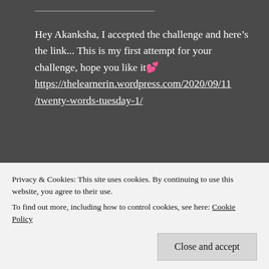Hey Akanksha, I accepted the challenge and here's the link... This is my first attempt for your challenge, hope you like it 💕 https://thelearnerin.wordpress.com/2020/09/11/twenty-words-tuesday-1/
★ Liked by 2 people
[Figure (illustration): Small blog preview thumbnail showing The Passionate Learner blog logo]
Twenty Words Tuesday #1 – The
Privacy & Cookies: This site uses cookies. By continuing to use this website, you agree to their use.
To find out more, including how to control cookies, see here: Cookie Policy